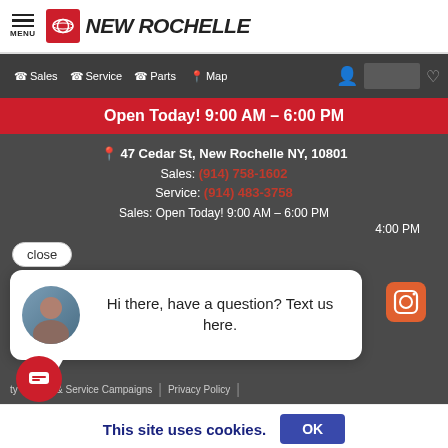MENU | NEW ROCHELLE Toyota
Sales  Service  Parts  Map
Open Today! 9:00 AM – 6:00 PM
47 Cedar St, New Rochelle NY, 10801
Sales: (914) 758-1602
Service: (914) 483-3758
Sales: Open Today! 9:00 AM – 6:00 PM
4:00 PM
close
Hi there, have a question? Text us here.
ty Recalls & Service Campaigns | Privacy Policy |
This site uses cookies.
OK